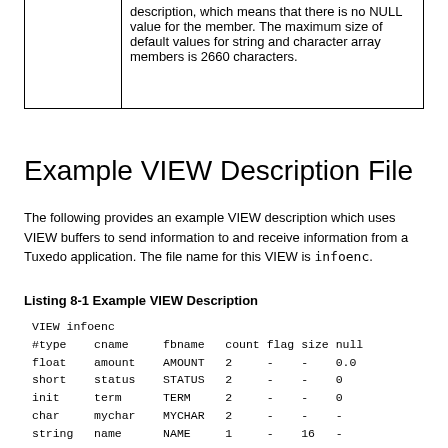|  | description, which means that there is no NULL value for the member. The maximum size of default values for string and character array members is 2660 characters. |
Example VIEW Description File
The following provides an example VIEW description which uses VIEW buffers to send information to and receive information from a Tuxedo application. The file name for this VIEW is infoenc.
Listing 8-1 Example VIEW Description
VIEW infoenc
#type    cname     fbname   count flag size null
float    amount    AMOUNT   2     -    -    0.0
short    status    STATUS   2     -    -    0
init     term      TERM     2     -    -    0
char     mychar    MYCHAR   2     -    -    -
string   name      NAME     1     -    16   -
carray   carray1   CARRAY1        1    -    10   -
dec_t    decimal   DECIMAL        1    -    9    - #
END